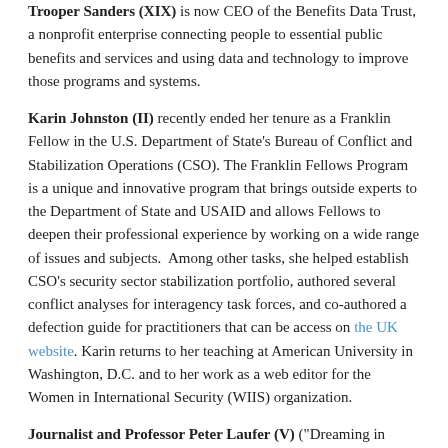Trooper Sanders (XIX) is now CEO of the Benefits Data Trust, a nonprofit enterprise connecting people to essential public benefits and services and using data and technology to improve those programs and systems.
Karin Johnston (II) recently ended her tenure as a Franklin Fellow in the U.S. Department of State's Bureau of Conflict and Stabilization Operations (CSO). The Franklin Fellows Program is a unique and innovative program that brings outside experts to the Department of State and USAID and allows Fellows to deepen their professional experience by working on a wide range of issues and subjects. Among other tasks, she helped establish CSO's security sector stabilization portfolio, authored several conflict analyses for interagency task forces, and co-authored a defection guide for practitioners that can be access on the UK website. Karin returns to her teaching at American University in Washington, D.C. and to her work as a web editor for the Women in International Security (WIIS) organization.
Journalist and Professor Peter Laufer (V) ("Dreaming in